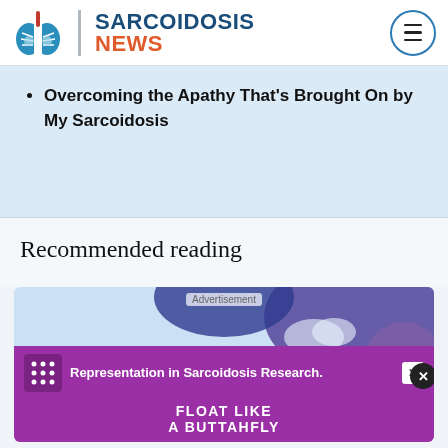[Figure (logo): Sarcoidosis News website logo with lungs icon, site name in blue and red, and hamburger menu button in circle]
Overcoming the Apathy That's Brought On by My Sarcoidosis
Recommended reading
[Figure (screenshot): Illustrated image with purple and teal shapes, advertisement banner reading 'Representation in Sarcoidosis Research.' and 'FLOAT LIKE A BUTTAHFLY' below in white text on purple background]